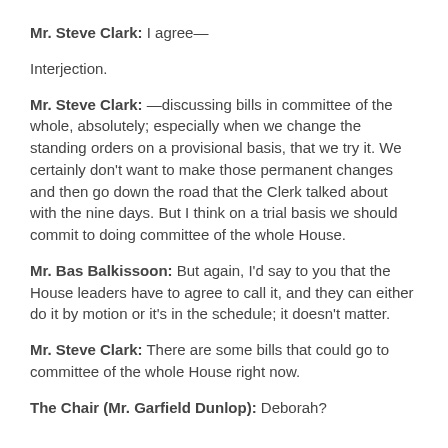Mr. Steve Clark: I agree—
Interjection.
Mr. Steve Clark: —discussing bills in committee of the whole, absolutely; especially when we change the standing orders on a provisional basis, that we try it. We certainly don't want to make those permanent changes and then go down the road that the Clerk talked about with the nine days. But I think on a trial basis we should commit to doing committee of the whole House.
Mr. Bas Balkissoon: But again, I'd say to you that the House leaders have to agree to call it, and they can either do it by motion or it's in the schedule; it doesn't matter.
Mr. Steve Clark: There are some bills that could go to committee of the whole House right now.
The Chair (Mr. Garfield Dunlop): Deborah?